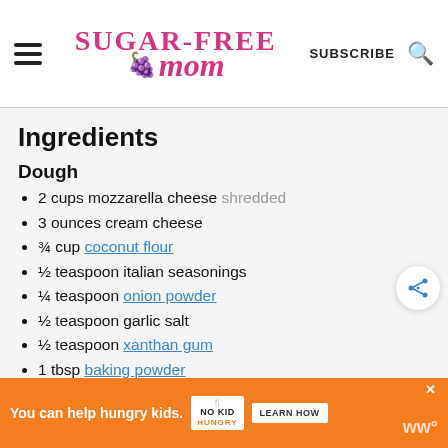Sugar-Free Mom | SUBSCRIBE
Ingredients
Dough
2 cups mozzarella cheese shredded
3 ounces cream cheese
¾ cup coconut flour
½ teaspoon italian seasonings
¼ teaspoon onion powder
½ teaspoon garlic salt
½ teaspoon xanthan gum
1 tbsp baking powder
2 eggs
You can help hungry kids. NO KID HUNGRY LEARN HOW